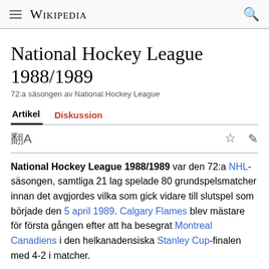≡ WIKIPEDIA 🔍
National Hockey League 1988/1989
72:a säsongen av National Hockey League
Artikel  Diskussion
National Hockey League 1988/1989 var den 72:a NHL-säsongen, samtliga 21 lag spelade 80 grundspelsmatcher innan det avgjordes vilka som gick vidare till slutspel som började den 5 april 1989. Calgary Flames blev mästare för första gången efter att ha besegrat Montreal Canadiens i den helkanadensiska Stanley Cup-finalen med 4-2 i matcher.
[Figure (other): Partial infobox at bottom of page with title NHL]